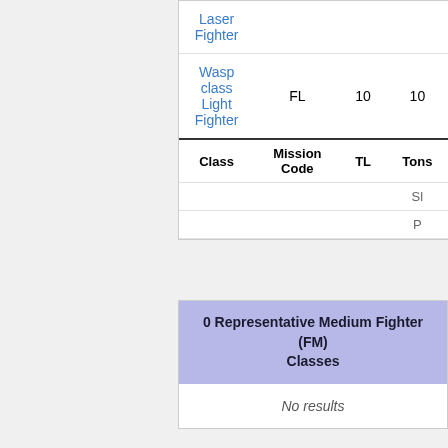| Class | Mission Code | TL | Tons |
| --- | --- | --- | --- |
| Laser Fighter |  |  |  |
| Wasp class Light Fighter | FL | 10 | 10 |
| Class | Mission Code | TL | Tons |
|  |  |  | Sl |
|  |  |  | P |
0 Representative Medium Fighter (FM) Classes
No results